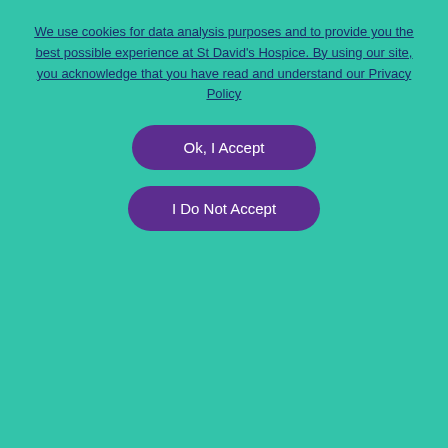We use cookies for data analysis purposes and to provide you the best possible experience at St David's Hospice. By using our site, you acknowledge that you have read and understand our Privacy Policy
Ok, I Accept
I Do Not Accept
way through.
The first 2km of this route is steep with rough terrain, mostly in forestry. After approximately 200 metres of total ascent, the forest tracks ease off and stunning views of Llyn Padarn will appear to your left.
The middle section of the route allows you to stretch out and will use forest tracks followed by roads, so please be aware